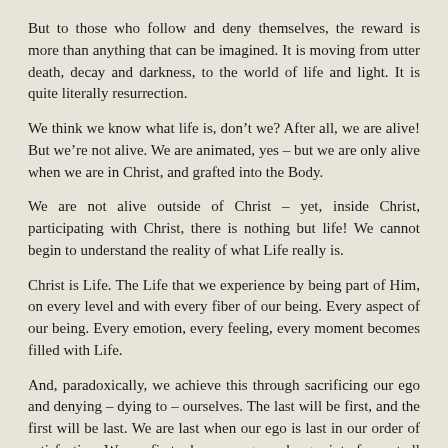But to those who follow and deny themselves, the reward is more than anything that can be imagined. It is moving from utter death, decay and darkness, to the world of life and light. It is quite literally resurrection.
We think we know what life is, don't we? After all, we are alive! But we're not alive. We are animated, yes – but we are only alive when we are in Christ, and grafted into the Body.
We are not alive outside of Christ – yet, inside Christ, participating with Christ, there is nothing but life! We cannot begin to understand the reality of what Life really is.
Christ is Life. The Life that we experience by being part of Him, on every level and with every fiber of our being. Every aspect of our being. Every emotion, every feeling, every moment becomes filled with Life.
And, paradoxically, we achieve this through sacrificing our ego and denying – dying to – ourselves. The last will be first, and the first will be last. We are last when our ego is last in our order of satisfaction. We are first when our ego no longer interferes at all with the focus on Christ.
A life of repentance and focus on Christ. Without distraction.
Brothers and sisters, it is not an easy life to which we are called. Yet it is